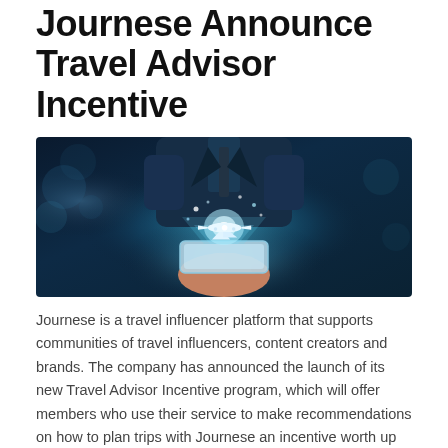Journese Announce Travel Advisor Incentive
[Figure (photo): Person in a suit holding a tablet with a glowing airplane hologram above it, teal/blue toned photo]
Journese is a travel influencer platform that supports communities of travel influencers, content creators and brands. The company has announced the launch of its new Travel Advisor Incentive program, which will offer members who use their service to make recommendations on how to plan trips with Journese an incentive worth up to $100.
The travel agent near me is a new service that will allow